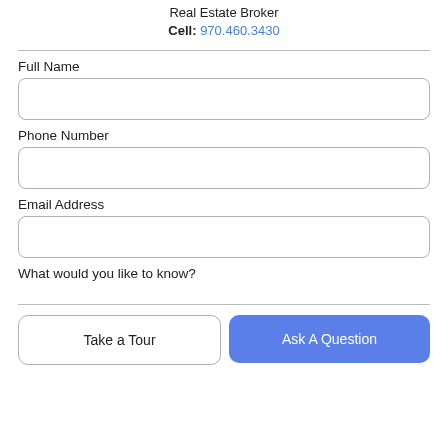Real Estate Broker
Cell: 970.460.3430
Full Name
Phone Number
Email Address
What would you like to know?
Take a Tour
Ask A Question